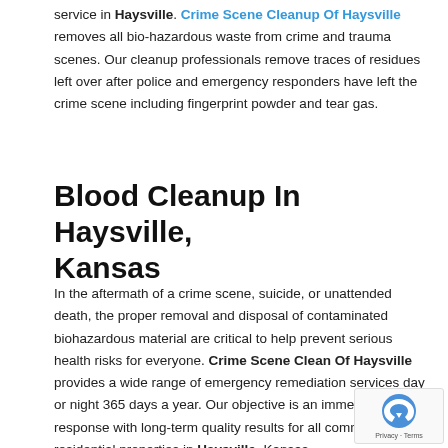service in Haysville. Crime Scene Cleanup Of Haysville removes all bio-hazardous waste from crime and trauma scenes. Our cleanup professionals remove traces of residues left over after police and emergency responders have left the crime scene including fingerprint powder and tear gas.
Blood Cleanup In Haysville, Kansas
In the aftermath of a crime scene, suicide, or unattended death, the proper removal and disposal of contaminated biohazardous material are critical to help prevent serious health risks for everyone. Crime Scene Clean Of Haysville provides a wide range of emergency remediation services day or night 365 days a year. Our objective is an immediate response with long-term quality results for all commercial and residential properties in Haysville, Kansas.